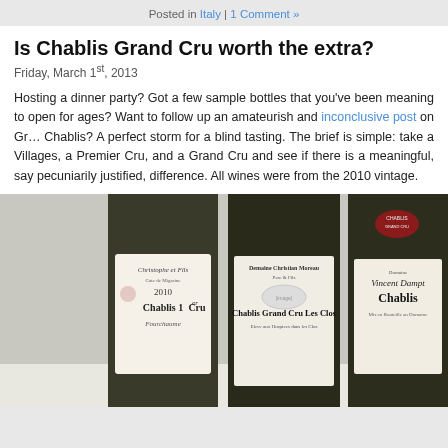Posted in Italy | 1 Comment »
Is Chablis Grand Cru worth the extra?
Friday, March 1st, 2013
Hosting a dinner party? Got a few sample bottles that you've been meaning to open for ages? Want to follow up an amateurish and inconclusive post on Grand Chablis? A perfect storm for a blind tasting. The brief is simple: take a Villages, a Premier Cru, and a Grand Cru and see if there is a meaningful, say pecuniarily justified, difference. All wines were from the 2010 vintage.
[Figure (photo): Three bottles of Chablis wine: Christophe et Fils Chablis 1er Cru Fourchaume 2010, Domaine Christian Moreau Pere & Fils Chablis Grand Cru Les Clos, and Domaine Vincent Dampt Chablis, photographed side by side on a white surface.]